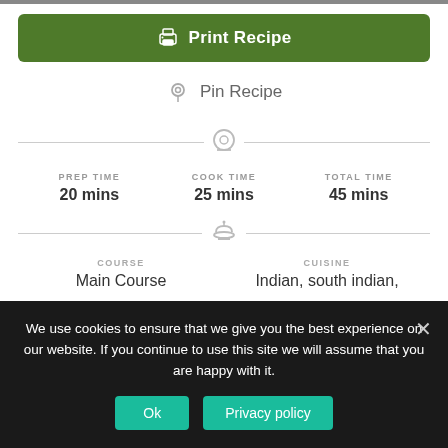Print Recipe
Pin Recipe
PREP TIME
20 mins
COOK TIME
25 mins
TOTAL TIME
45 mins
COURSE
Main Course
CUISINE
Indian, south indian,
We use cookies to ensure that we give you the best experience on our website. If you continue to use this site we will assume that you are happy with it.
Ok
Privacy policy